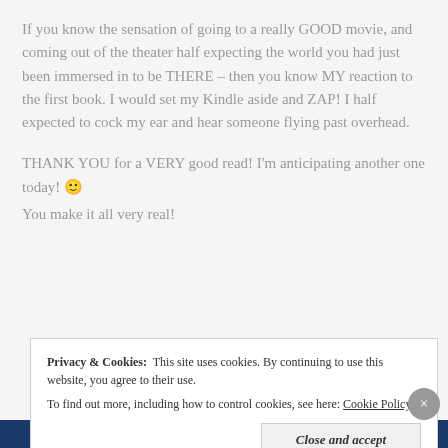If you know the sensation of going to a really GOOD movie, and coming out of the theater half expecting the world you had just been immersed in to be THERE – then you know MY reaction to the first book. I would set my Kindle aside and ZAP! I half expected to cock my ear and hear someone flying past overhead.
THANK YOU for a VERY good read! I'm anticipating another one today! 🙂 You make it all very real!
Privacy & Cookies:  This site uses cookies. By continuing to use this website, you agree to their use. To find out more, including how to control cookies, see here: Cookie Policy
Close and accept